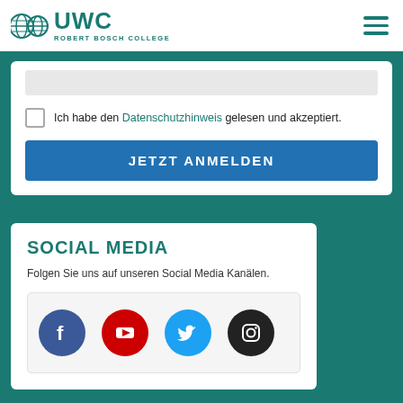UWC Robert Bosch College
Ich habe den Datenschutzhinweis gelesen und akzeptiert.
JETZT ANMELDEN
SOCIAL MEDIA
Folgen Sie uns auf unseren Social Media Kanälen.
[Figure (illustration): Social media icons: Facebook (blue circle), YouTube (red circle), Twitter (light blue circle), Instagram (black circle)]